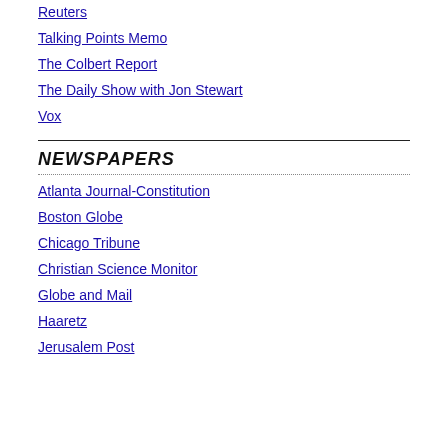Reuters
Talking Points Memo
The Colbert Report
The Daily Show with Jon Stewart
Vox
NEWSPAPERS
Atlanta Journal-Constitution
Boston Globe
Chicago Tribune
Christian Science Monitor
Globe and Mail
Haaretz
Jerusalem Post